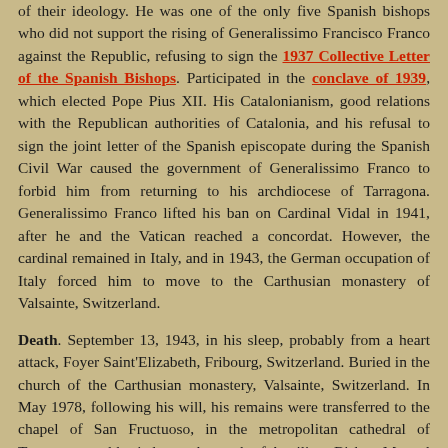of their ideology. He was one of the only five Spanish bishops who did not support the rising of Generalissimo Francisco Franco against the Republic, refusing to sign the 1937 Collective Letter of the Spanish Bishops. Participated in the conclave of 1939, which elected Pope Pius XII. His Catalonianism, good relations with the Republican authorities of Catalonia, and his refusal to sign the joint letter of the Spanish episcopate during the Spanish Civil War caused the government of Generalissimo Franco to forbid him from returning to his archdiocese of Tarragona. Generalissimo Franco lifted his ban on Cardinal Vidal in 1941, after he and the Vatican reached a concordat. However, the cardinal remained in Italy, and in 1943, the German occupation of Italy forced him to move to the Carthusian monastery of Valsainte, Switzerland.
Death. September 13, 1943, in his sleep, probably from a heart attack, Foyer Saint'Elizabeth, Fribourg, Switzerland. Buried in the church of the Carthusian monastery, Valsainte, Switzerland. In May 1978, following his will, his remains were transferred to the chapel of San Fructuoso, in the metropolitan cathedral of Tarragona, and buried near the tomb of Auxiliary Bishop Manuel Borrás, assassinated during the Spanish Civil War (1). The archdiocese of Tarragona dedicated the year 2013-2014 to the remembrance of the cardinal on the seventieth anniversary of his death.
Bibliography. Echeverría, Lamberto de. Episcopologio español contemporáneo.